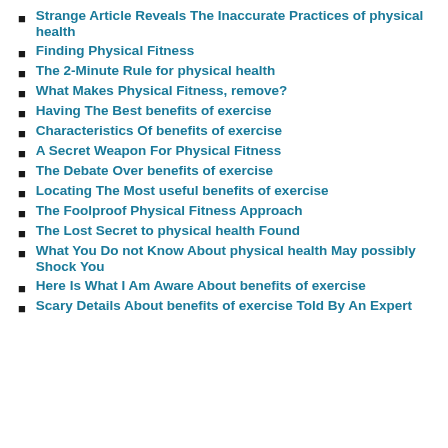Strange Article Reveals The Inaccurate Practices of physical health
Finding Physical Fitness
The 2-Minute Rule for physical health
What Makes Physical Fitness, remove?
Having The Best benefits of exercise
Characteristics Of benefits of exercise
A Secret Weapon For Physical Fitness
The Debate Over benefits of exercise
Locating The Most useful benefits of exercise
The Foolproof Physical Fitness Approach
The Lost Secret to physical health Found
What You Do not Know About physical health May possibly Shock You
Here Is What I Am Aware About benefits of exercise
Scary Details About benefits of exercise Told By An Expert